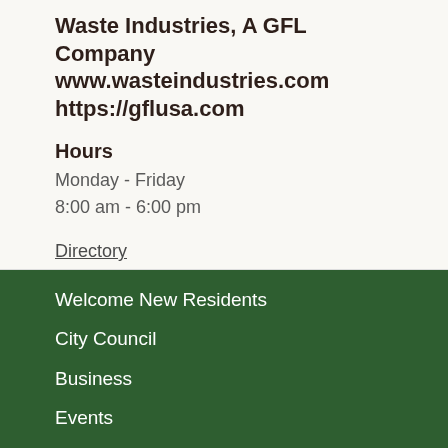Waste Industries, A GFL Company
www.wasteindustries.com
https://gflusa.com
Hours
Monday - Friday
8:00 am - 6:00 pm
Directory
Welcome New Residents
City Council
Business
Events